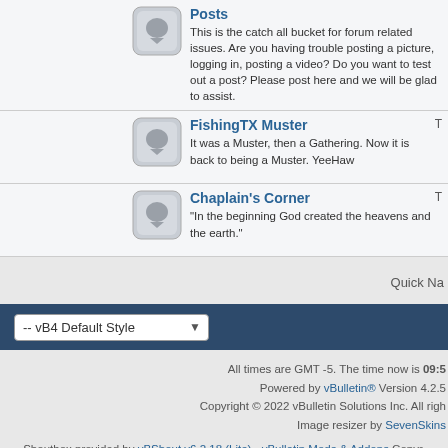Posts
This is the catch all bucket for forum related issues. Are you having trouble posting a picture, logging in, posting a video? Do you want to test out a post? Please post here and we will be glad to assist.
FishingTX Muster
It was a Muster, then a Gathering. Now it is back to being a Muster. YeeHaw
Chaplain's Corner
"In the beginning God created the heavens and the earth."
Quick Na
-- vB4 Default Style
All times are GMT -5. The time now is 09:5
Powered by vBulletin® Version 4.2.5
Copyright © 2022 vBulletin Solutions Inc. All righ
Image resizer by SevenSkins
Shoutbox provided by vBShout v6.2.18 (Lite) - vBulletin Mods & Addons Copyr
© FishingTX.com